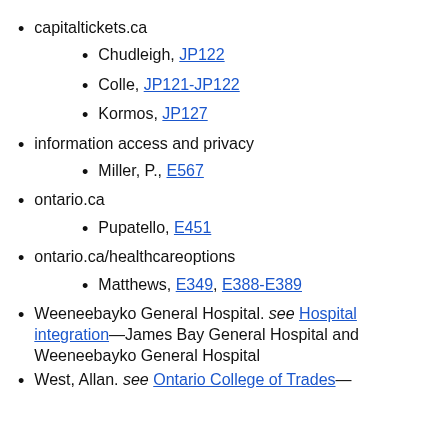capitaltickets.ca
Chudleigh, JP122
Colle, JP121-JP122
Kormos, JP127
information access and privacy
Miller, P., E567
ontario.ca
Pupatello, E451
ontario.ca/healthcareoptions
Matthews, E349, E388-E389
Weeneebayko General Hospital. see Hospital integration—James Bay General Hospital and Weeneebayko General Hospital
West, Allan. see Ontario College of Trades—